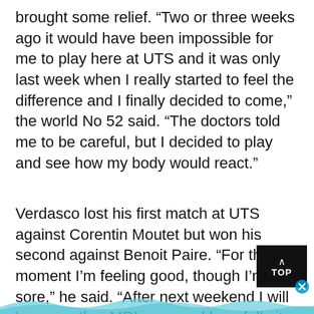brought some relief. “Two or three weeks ago it would have been impossible for me to play here at UTS and it was only last week when I really started to feel the difference and I finally decided to come,” the world No 52 said. “The doctors told me to be careful, but I decided to play and see how my body would react.”
Verdasco lost his first match at UTS against Corentin Moutet but won his second against Benoit Paire. “For the moment I’m feeling good, though I’m a bit sore,” he said. “After next weekend I will have another MRI scan and hopefully it won’t have got any worse. Then I can keep going with treatment until the tournaments in the US